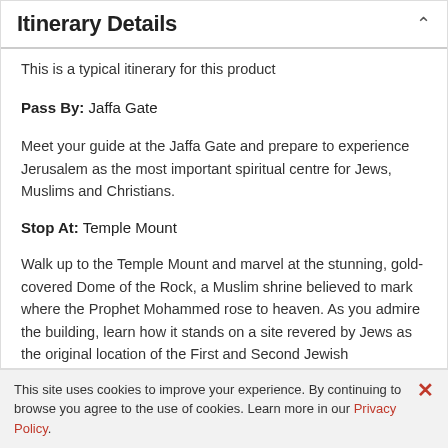Itinerary Details
This is a typical itinerary for this product
Pass By: Jaffa Gate
Meet your guide at the Jaffa Gate and prepare to experience Jerusalem as the most important spiritual centre for Jews, Muslims and Christians.
Stop At: Temple Mount
Walk up to the Temple Mount and marvel at the stunning, gold-covered Dome of the Rock, a Muslim shrine believed to mark where the Prophet Mohammed rose to heaven. As you admire the building, learn how it stands on a site revered by Jews as the original location of the First and Second Jewish
This site uses cookies to improve your experience. By continuing to browse you agree to the use of cookies. Learn more in our Privacy Policy.